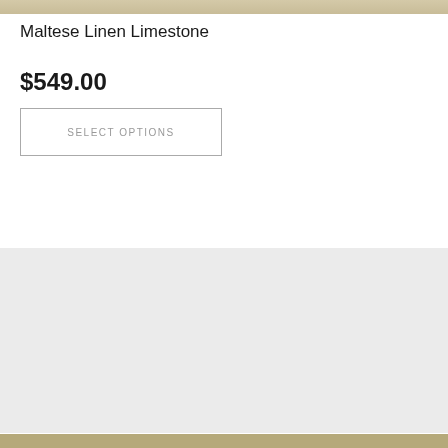[Figure (photo): Partial product image strip of Maltese Linen Limestone tile at top of page]
Maltese Linen Limestone
$549.00
SELECT OPTIONS
Recently Viewed Items
TURN HISTORY OFF